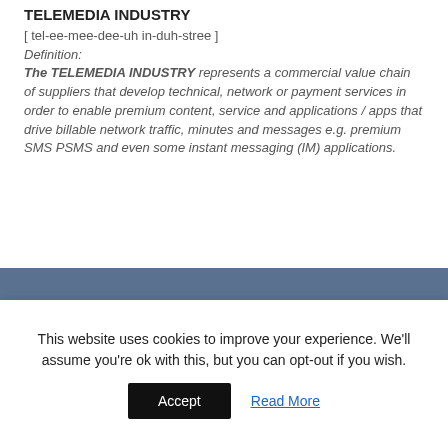TELEMEDIA INDUSTRY
[ tel-ee-mee-dee-uh in-duh-stree ]
Definition:
The TELEMEDIA INDUSTRY represents a commercial value chain of suppliers that develop technical, network or payment services in order to enable premium content, service and applications / apps that drive billable network traffic, minutes and messages e.g. premium SMS PSMS and even some instant messaging (IM) applications.
QUICK LINKS
This website uses cookies to improve your experience. We'll assume you're ok with this, but you can opt-out if you wish.